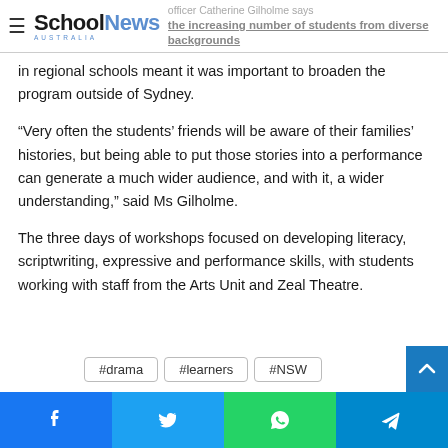SchoolNews Australia — officer Catherine Gilholme says the increasing number of students from diverse backgrounds
in regional schools meant it was important to broaden the program outside of Sydney.
“Very often the students’ friends will be aware of their families’ histories, but being able to put those stories into a performance can generate a much wider audience, and with it, a wider understanding,” said Ms Gilholme.
The three days of workshops focused on developing literacy, scriptwriting, expressive and performance skills, with students working with staff from the Arts Unit and Zeal Theatre.
#drama
#learners
#NSW